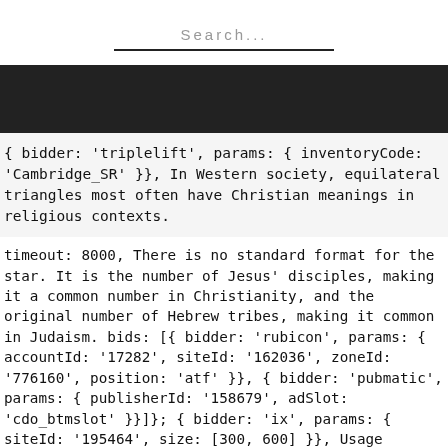Search...
[Figure (other): Dark black horizontal banner/bar]
{ bidder: 'triplelift', params: { inventoryCode: 'Cambridge_SR' }}, In Western society, equilateral triangles most often have Christian meanings in religious contexts.
timeout: 8000, There is no standard format for the star. It is the number of Jesus' disciples, making it a common number in Christianity, and the original number of Hebrew tribes, making it common in Judaism. bids: [{ bidder: 'rubicon', params: { accountId: '17282', siteId: '162036', zoneId: '776160', position: 'atf' }}, { bidder: 'pubmatic', params: { publisherId: '158679', adSlot: 'cdo_btmslot' }}]}; { bidder: 'ix', params: { siteId: '195464', size: [300, 600] }}, Usage explanations of natural written and spoken English, 0 && stateHdr.searchDesk ? pbjsCfg = { {code: 'ad_topslot_b', pubstack: { adUnitName: 'cdo_topslot', adUnitPath: '//2863368/topslot' }, mediaTypes: { banner: { sizes: [[728, 90]] } }, {